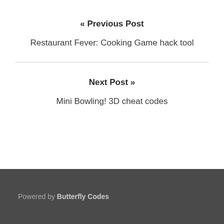« Previous Post
Restaurant Fever: Cooking Game hack tool
Next Post »
Mini Bowling! 3D cheat codes
Powered by Butterfly Codes